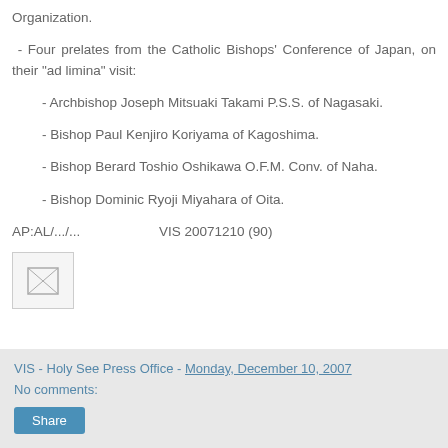Organization.
- Four prelates from the Catholic Bishops' Conference of Japan, on their "ad limina" visit:
- Archbishop Joseph Mitsuaki Takami P.S.S. of Nagasaki.
- Bishop Paul Kenjiro Koriyama of Kagoshima.
- Bishop Berard Toshio Oshikawa O.F.M. Conv. of Naha.
- Bishop Dominic Ryoji Miyahara of Oita.
AP:AL/.../...                    VIS 20071210 (90)
[Figure (other): Small broken image icon placeholder]
VIS - Holy See Press Office - Monday, December 10, 2007
No comments:
Share